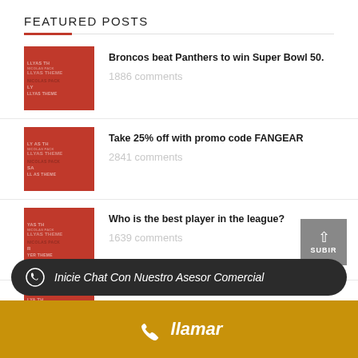FEATURED POSTS
Broncos beat Panthers to win Super Bowl 50. — 1886 comments
Take 25% off with promo code FANGEAR — 2841 comments
Who is the best player in the league? — 1639 comments
Inicie Chat Con Nuestro Asesor Comercial
llamar